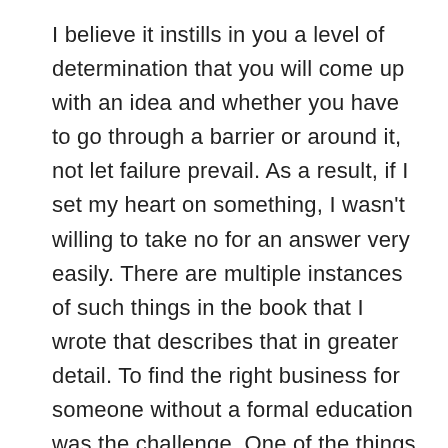I believe it instills in you a level of determination that you will come up with an idea and whether you have to go through a barrier or around it, not let failure prevail. As a result, if I set my heart on something, I wasn't willing to take no for an answer very easily. There are multiple instances of such things in the book that I wrote that describes that in greater detail. To find the right business for someone without a formal education was the challenge. One of the things I did as a dealer at night was I decided to become a realtor by day. Las Vegas was a very small town back then but I saw a great growth potential so I could sell real estate during the day. I can pick